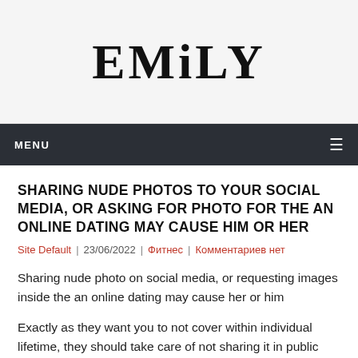EMILY
MENU
SHARING NUDE PHOTOS TO YOUR SOCIAL MEDIA, OR ASKING FOR PHOTO FOR THE AN ONLINE DATING MAY CAUSE HIM OR HER
Site Default | 23/06/2022 | Фитнес | Комментариев нет
Sharing nude photo on social media, or requesting images inside the an online dating may cause her or him
Exactly as they want you to not cover within individual lifetime, they should take care of not sharing it in public due to the fact really.
To ensure them you really worth their matchmaking and also